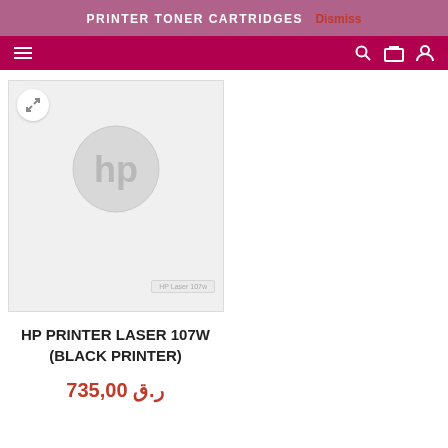PRINTER TONER CARTRIDGES  Dismiss
[Figure (photo): HP LaserJet 107W printer product image on a light grey background, showing the HP logo on the front face of the printer]
HP PRINTER LASER 107W (BLACK PRINTER)
735,00 ر.ق